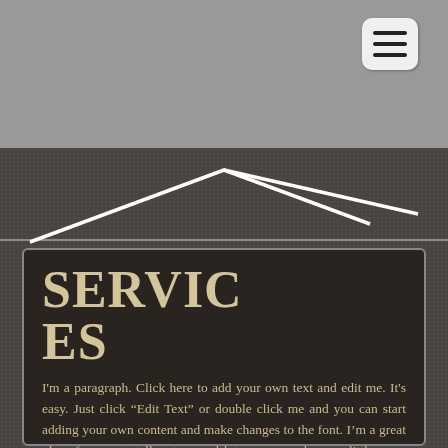[Figure (other): Hamburger menu icon button with three horizontal bars on a light rounded square background, positioned in upper right of gray header]
[Figure (illustration): White mountain peak silhouette (chevron/roof shape) on dark textured brown-gray background, two overlapping peaks]
SERVICES
I'm a paragraph. Click here to add your own text and edit me. It's easy. Just click “Edit Text” or double click me and you can start adding your own content and make changes to the font. I’m a great place for you to tell a story and let your users know a little more about you.